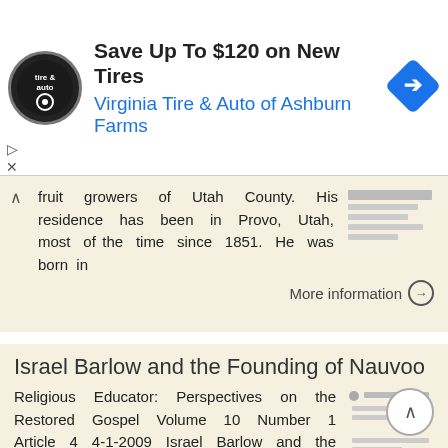[Figure (infographic): Ad banner: Virginia Tire & Auto logo on left, text 'Save Up To $120 on New Tires / Virginia Tire & Auto of Ashburn Farms', blue arrow diamond icon on right]
fruit growers of Utah County. His residence has been in Provo, Utah, most of the time since 1851. He was born in
More information →
Israel Barlow and the Founding of Nauvoo
Religious Educator: Perspectives on the Restored Gospel Volume 10 Number 1 Article 4 4-1-2009 Israel Barlow and the Founding of Nauvoo Brent A. Barlow brent_barlow@byu.edu Follow this and additional works
More information →
The Latter Day Saints